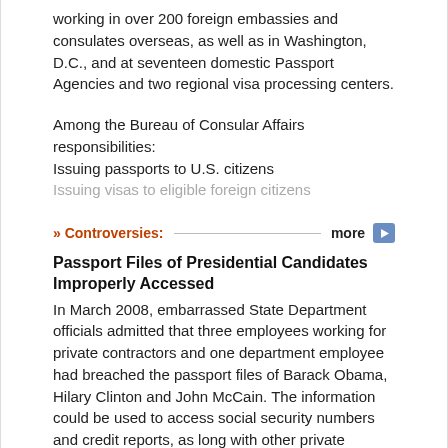working in over 200 foreign embassies and consulates overseas, as well as in Washington, D.C., and at seventeen domestic Passport Agencies and two regional visa processing centers.
Among the Bureau of Consular Affairs responsibilities:
Issuing passports to U.S. citizens
Issuing visas to eligible foreign citizens
» Controversies:
Passport Files of Presidential Candidates Improperly Accessed
In March 2008, embarrassed State Department officials admitted that three employees working for private contractors and one department employee had breached the passport files of Barack Obama, Hilary Clinton and John McCain. The information could be used to access social security numbers and credit reports, as long with other private information. Sixty percent of people who process passports are contractors. The State Department has yet to reveal
See all 25 comments
» Comments